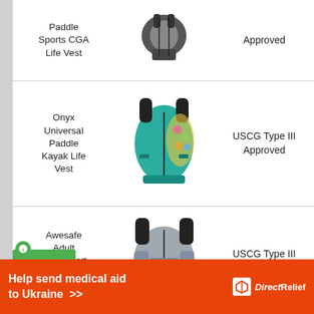| Product | Image | Approval |
| --- | --- | --- |
| Paddle Sports CGA Life Vest | [image] | Approved |
| Onyx Universal Paddle Kayak Life Vest | [image] | USCG Type III Approved |
| Awesafe Adult Watersport Universal Vest | [image] | USCG Type III Approved |
Help send medical aid to Ukraine >> DirectRelief